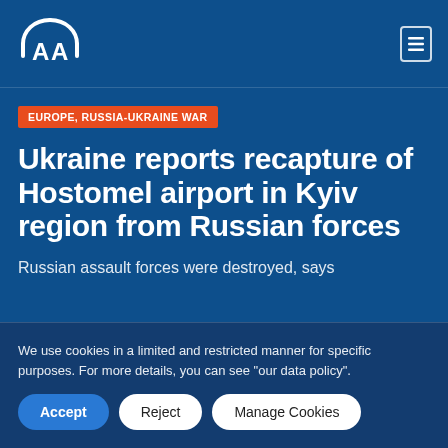AA (Anadolu Agency) logo and navigation menu
EUROPE, RUSSIA-UKRAINE WAR
Ukraine reports recapture of Hostomel airport in Kyiv region from Russian forces
Russian assault forces were destroyed, says
We use cookies in a limited and restricted manner for specific purposes. For more details, you can see "our data policy".
Accept | Reject | Manage Cookies